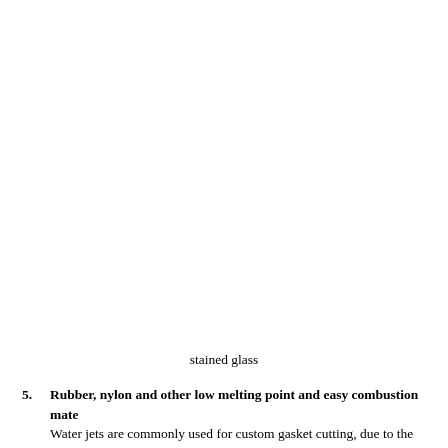stained glass
5. Rubber, nylon and other low melting point and easy combustion mate... Water jets are commonly used for custom gasket cutting, due to the machi... the rubber due to cold cut and waterjets can easily and fast make arbitrate...